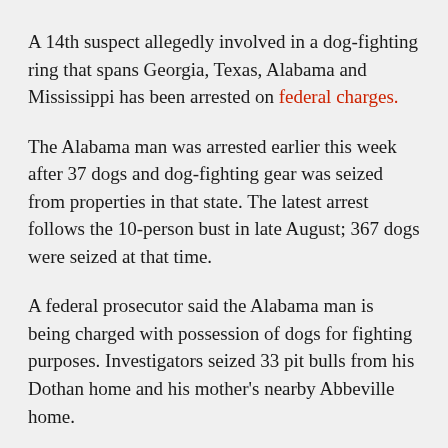A 14th suspect allegedly involved in a dog-fighting ring that spans Georgia, Texas, Alabama and Mississippi has been arrested on federal charges.
The Alabama man was arrested earlier this week after 37 dogs and dog-fighting gear was seized from properties in that state. The latest arrest follows the 10-person bust in late August; 367 dogs were seized at that time.
A federal prosecutor said the Alabama man is being charged with possession of dogs for fighting purposes. Investigators seized 33 pit bulls from his Dothan home and his mother's nearby Abbeville home.
An FBI agent's affidavit said informants and "cooperating witnesses" told authorities that the suspect had entered animals in dog fights in western Georgia, southern Alabama and